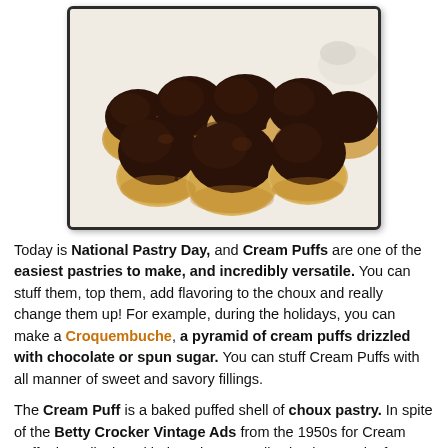[Figure (photo): Photograph of multiple chocolate-topped cream puffs (profiteroles) arranged on a white surface, viewed from above. The pastry bases are golden-brown choux puffs, each topped with a dark chocolate ganache coating.]
Today is National Pastry Day, and Cream Puffs are one of the easiest pastries to make, and incredibly versatile. You can stuff them, top them, add flavoring to the choux and really change them up! For example, during the holidays, you can make a Croquembuche, a pyramid of cream puffs drizzled with chocolate or spun sugar. You can stuff Cream Puffs with all manner of sweet and savory fillings.
The Cream Puff is a baked puffed shell of choux pastry. In spite of the Betty Crocker Vintage Ads from the 1950s for Cream Puff mixes displayed below, they're really simple to make from scratch. Following is an easy classic recipe for